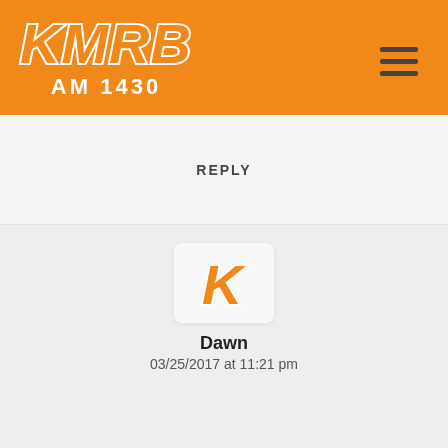[Figure (logo): KMRB AM 1430 radio station logo on orange background with hamburger menu icon]
REPLY
[Figure (logo): KMRB K logo icon (orange K on white/light background)]
Dawn
03/25/2017 at 11:21 pm
please let me know the place Taiwanese restaurant and bar in Roland Heights you guys mentioned in 2 days ago. Thank you!